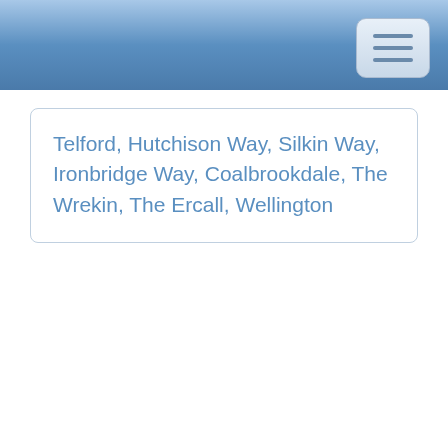Telford, Hutchison Way, Silkin Way, Ironbridge Way, Coalbrookdale, The Wrekin, The Ercall, Wellington